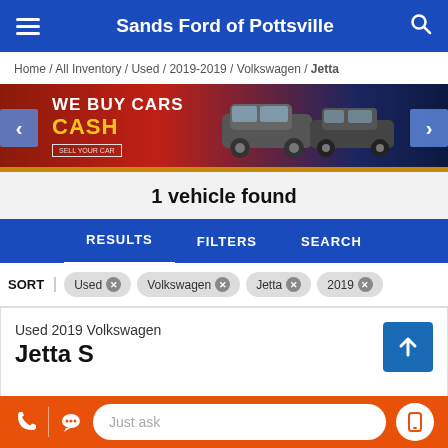Sands Ford of Pottsville
Home / All Inventory / Used / 2019-2019 / Volkswagen / Jetta
[Figure (infographic): Promotional banner reading WE BUY CARS CASH with cars silhouette on red-to-blue gradient background, with left and right navigation arrows]
1 vehicle found
RESULTS   FILTERS   SEARCH
SORT  Used ×  Volkswagen ×  Jetta ×  2019 ×
Used 2019 Volkswagen
Jetta S